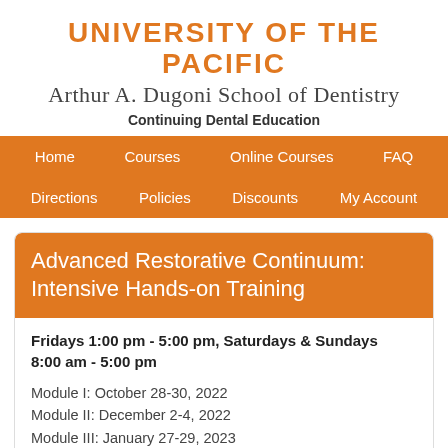UNIVERSITY OF THE PACIFIC Arthur A. Dugoni School of Dentistry Continuing Dental Education
Home | Courses | Online Courses | FAQ | Directions | Policies | Discounts | My Account
Advanced Restorative Continuum: Intensive Hands-on Training
Fridays 1:00 pm - 5:00 pm, Saturdays & Sundays 8:00 am - 5:00 pm
Module I: October 28-30, 2022
Module II: December 2-4, 2022
Module III: January 27-29, 2023
Module IV: March 3-5, 2023